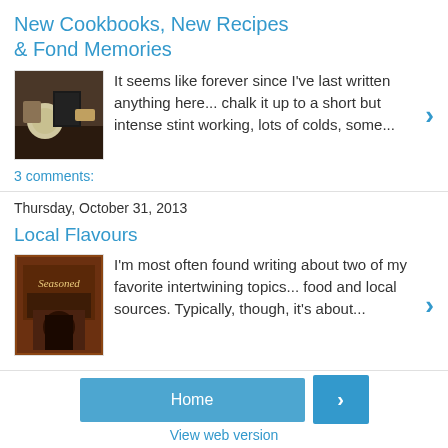New Cookbooks, New Recipes & Fond Memories
[Figure (photo): Photo of food ingredients and a cookbook on a table]
It seems like forever since I've last written anything here... chalk it up to a short but intense stint working, lots of colds, some...
3 comments:
Thursday, October 31, 2013
Local Flavours
[Figure (photo): Cover of the book 'Seasoned']
I'm most often found writing about two of my favorite intertwining topics... food and local sources. Typically, though, it's about...
Home
View web version